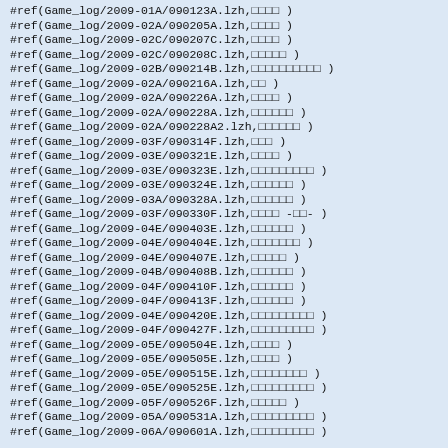#ref(Game_log/2009-01A/090123A.lzh,□□□□ )
#ref(Game_log/2009-02A/090205A.lzh,□□□□ )
#ref(Game_log/2009-02C/090207C.lzh,□□□□ )
#ref(Game_log/2009-02C/090208C.lzh,□□□□□ )
#ref(Game_log/2009-02B/090214B.lzh,□□□□□□□□□□ )
#ref(Game_log/2009-02A/090216A.lzh,□□ )
#ref(Game_log/2009-02A/090226A.lzh,□□□□ )
#ref(Game_log/2009-02A/090228A.lzh,□□□□□□ )
#ref(Game_log/2009-02A/090228A2.lzh,□□□□□□ )
#ref(Game_log/2009-03F/090314F.lzh,□□□ )
#ref(Game_log/2009-03E/090321E.lzh,□□□□ )
#ref(Game_log/2009-03E/090323E.lzh,□□□□□□□□□ )
#ref(Game_log/2009-03E/090324E.lzh,□□□□□□ )
#ref(Game_log/2009-03A/090328A.lzh,□□□□□□ )
#ref(Game_log/2009-03F/090330F.lzh,□□□□ -□□- )
#ref(Game_log/2009-04E/090403E.lzh,□□□□□□ )
#ref(Game_log/2009-04E/090404E.lzh,□□□□□□□ )
#ref(Game_log/2009-04E/090407E.lzh,□□□□□ )
#ref(Game_log/2009-04B/090408B.lzh,□□□□□□ )
#ref(Game_log/2009-04F/090410F.lzh,□□□□□□ )
#ref(Game_log/2009-04F/090413F.lzh,□□□□□□ )
#ref(Game_log/2009-04E/090420E.lzh,□□□□□□□□□ )
#ref(Game_log/2009-04F/090427F.lzh,□□□□□□□□□ )
#ref(Game_log/2009-05E/090504E.lzh,□□□□ )
#ref(Game_log/2009-05E/090505E.lzh,□□□□ )
#ref(Game_log/2009-05E/090515E.lzh,□□□□□□□□ )
#ref(Game_log/2009-05E/090525E.lzh,□□□□□□□□□ )
#ref(Game_log/2009-05F/090526F.lzh,□□□□□ )
#ref(Game_log/2009-05A/090531A.lzh,□□□□□□□□□ )
#ref(Game_log/2009-06A/090601A.lzh,□□□□□□□□□ )